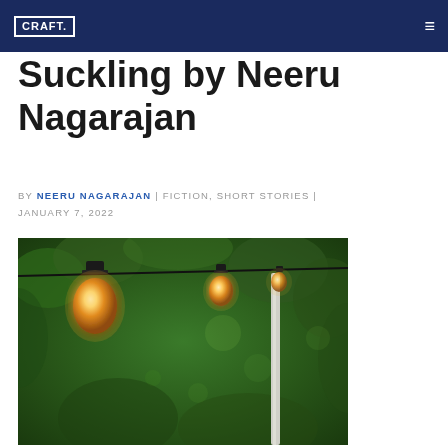CRAFT.
Suckling by Neeru Nagarajan
BY NEERU NAGARAJAN | FICTION, SHORT STORIES | JANUARY 7, 2022
[Figure (photo): String lights with glowing Edison bulbs hanging against a blurred green foliage background, with a pale pole visible on the right side.]